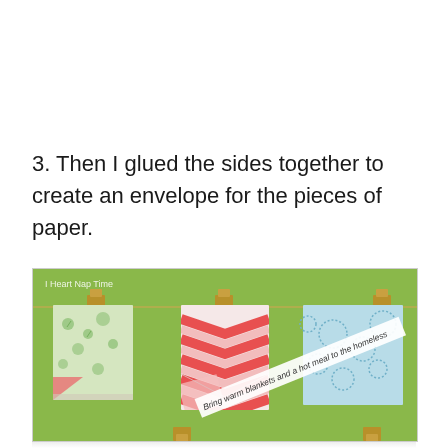3. Then I glued the sides together to create an envelope for the pieces of paper.
[Figure (photo): Photo of decorative paper envelopes clipped with gold binder clips to a string on a lime green board. One envelope shows a chevron red and white pattern, another has a floral green pattern, and a third has a light blue swirl pattern. A paper strip reads 'Bring warm blankets and a hot meal to the homeless'. Watermark reads 'I Heart Nap Time'.]